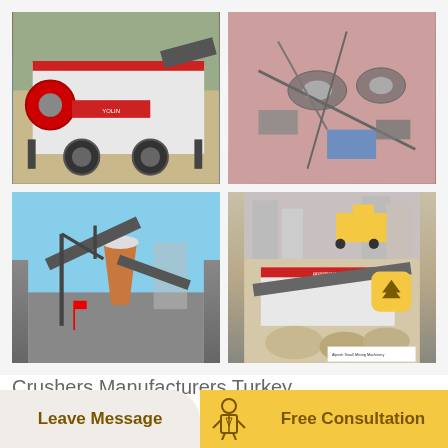[Figure (photo): Grid of four industrial mining/crushing machinery photos: top-left shows a mobile jaw crusher on a trailer; top-right shows aerial view of mining equipment; bottom-left shows a cone crusher with conveyor belts; bottom-right shows a crushing plant at a construction site with 'Alpesh Small Mining Machinery' branding]
Crushers Manufacturers Turkey
Leave Message   Free Consultation